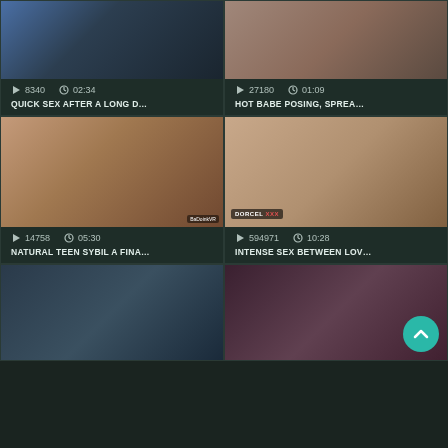[Figure (screenshot): Video thumbnail grid - adult video platform UI showing 6 video cards in 2-column layout. Each card has a thumbnail image, view count with play icon, duration with clock icon, and video title in uppercase.]
8340  02:34  QUICK SEX AFTER A LONG D...
27180  01:09  HOT BABE POSING, SPREA...
14758  05:30  NATURAL TEEN SYBIL A FINA...
594971  10:28  INTENSE SEX BETWEEN LOV...